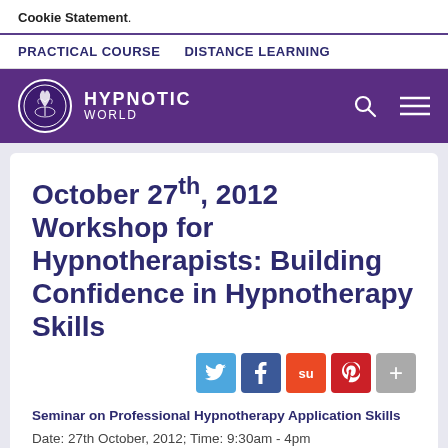Cookie Statement.
PRACTICAL COURSE   DISTANCE LEARNING
[Figure (logo): Hypnotic World logo with tree emblem in purple header bar, with search and menu icons]
October 27th, 2012 Workshop for Hypnotherapists: Building Confidence in Hypnotherapy Skills
[Figure (infographic): Social sharing buttons: Twitter (blue), Facebook (dark blue), StumbleUpon (red-orange), Pinterest (red), and a grey more button]
Seminar on Professional Hypnotherapy Application Skills
Date: 27th October, 2012; Time: 9:30am - 4pm